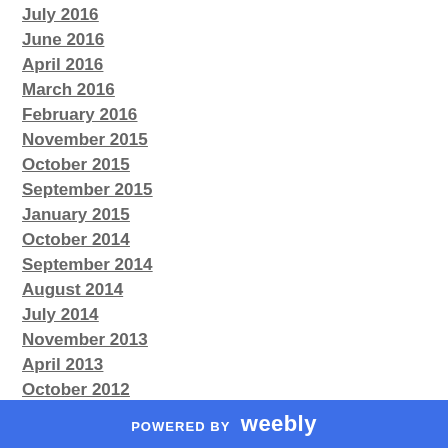July 2016
June 2016
April 2016
March 2016
February 2016
November 2015
October 2015
September 2015
January 2015
October 2014
September 2014
August 2014
July 2014
November 2013
April 2013
October 2012
POWERED BY weebly